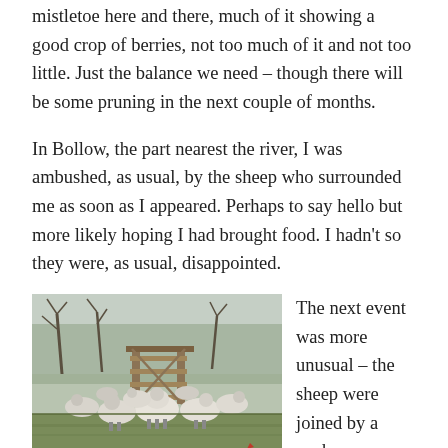mistletoe here and there, much of it showing a good crop of berries, not too much of it and not too little. Just the balance we need – though there will be some pruning in the next couple of months.
In Bollow, the part nearest the river, I was ambushed, as usual, by the sheep who surrounded me as soon as I appeared. Perhaps to say hello but more likely hoping I had brought food. I hadn't so they were, as usual, disappointed.
[Figure (photo): A group of white sheep standing in a field with bare trees and a wooden gate structure in the background, with what appears to be a cockerel at the bottom right.]
The next event was more unusual – the sheep were joined by a cock